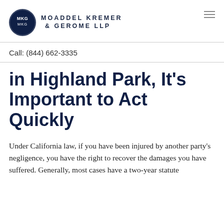[Figure (logo): Moaddel Kremer & Gerome LLP law firm logo — dark navy circle with MKG initials, firm name in uppercase spaced letters to the right]
Call: (844) 662-3335
in Highland Park, It's Important to Act Quickly
Under California law, if you have been injured by another party's negligence, you have the right to recover the damages you have suffered. Generally, most cases have a two-year statute